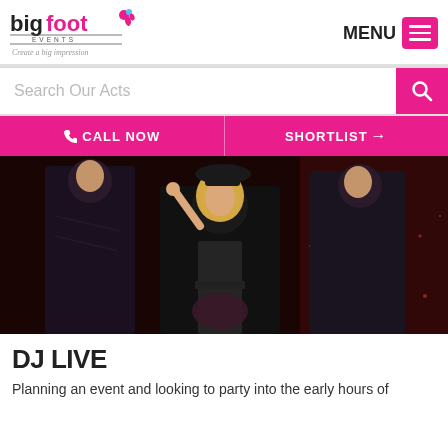bigfoot EVENTS — Create a big impression | MENU
Search Our Acts
CALL NOW | SHORTLIST →
[Figure (photo): Group of performers in black sequined outfits and formal wear posing against a dark red sparkly background. A blonde woman in the center wearing a black hat and sheer black outfit is the focal point.]
DJ LIVE
Planning an event and looking to party into the early hours of